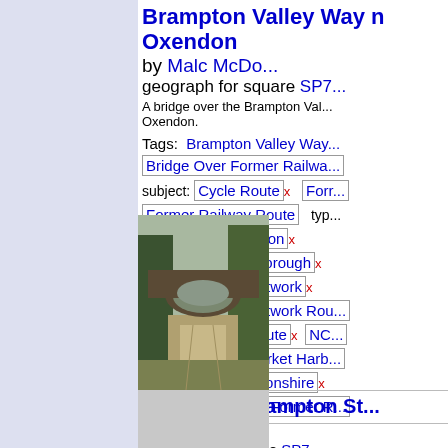Brampton Valley Way near Great Oxendon by Malc McDonald geograph for square SP7...
A bridge over the Brampton Valley Way near Great Oxendon.
Tags: Brampton Valley Way
Bridge Over Former Railway
subject: Cycle Route x  Former  Former Railway Route  type
[Figure (photo): Photo of a road/path passing under a brick arch bridge, surrounded by trees and vegetation.]
near: Great Oxendon x
near: Market Harborough x
National Cycle Network x
National Cycle Network Rou...
National Cycle Route x  NC...
Northampton - Market Harb...
county: Northamptonshire x
Road Bridge Over Former R...
Pitsford & Brampton St... McDonald
geograph for square SP7...